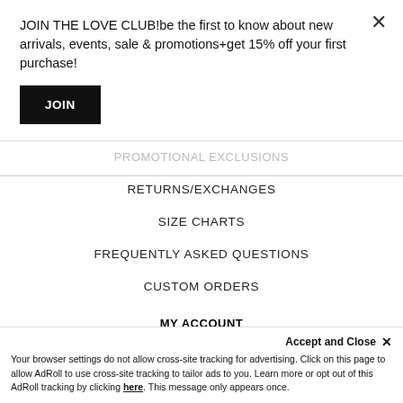JOIN THE LOVE CLUB!be the first to know about new arrivals, events, sale & promotions+get 15% off your first purchase!
JOIN
PROMOTIONAL EXCLUSIONS
RETURNS/EXCHANGES
SIZE CHARTS
FREQUENTLY ASKED QUESTIONS
CUSTOM ORDERS
MY ACCOUNT
SIGN IN/ REGISTER
TRACK MY ORDER
LOVE LIST
Accept and Close ×
Your browser settings do not allow cross-site tracking for advertising. Click on this page to allow AdRoll to use cross-site tracking to tailor ads to you. Learn more or opt out of this AdRoll tracking by clicking here. This message only appears once.